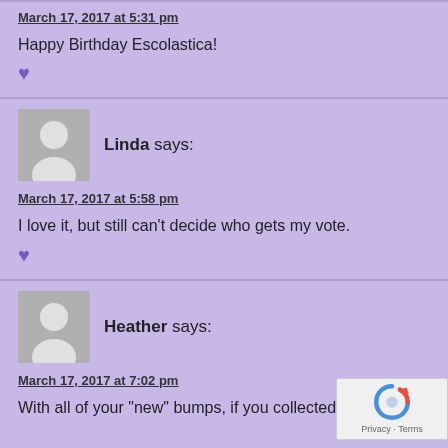March 17, 2017 at 5:31 pm
Happy Birthday Escolastica!
♥
Linda says:
March 17, 2017 at 5:58 pm
I love it, but still can't decide who gets my vote.
♥
Heather says:
March 17, 2017 at 7:02 pm
With all of your "new" bumps, if you collected them we...